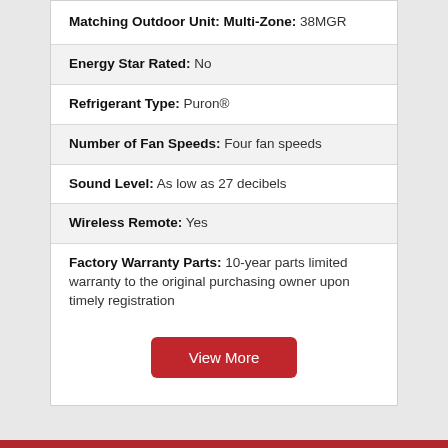Matching Outdoor Unit: Multi-Zone: 38MGR
Energy Star Rated: No
Refrigerant Type: Puron®
Number of Fan Speeds: Four fan speeds
Sound Level: As low as 27 decibels
Wireless Remote: Yes
Factory Warranty Parts: 10-year parts limited warranty to the original purchasing owner upon timely registration
View More